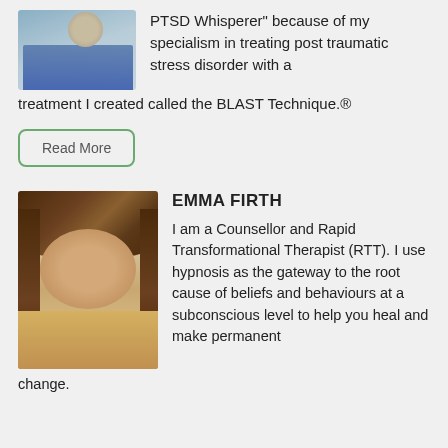[Figure (photo): Partial photo of a person wearing a striped shirt and watch, cropped at top]
PTSD Whisperer" because of my specialism in treating post traumatic stress disorder with a treatment I created called the BLAST Technique.®
Read More
[Figure (photo): Portrait photo of Emma Firth, a woman with curly brown hair wearing a light yellow top]
EMMA FIRTH
I am a Counsellor and Rapid Transformational Therapist (RTT). I use hypnosis as the gateway to the root cause of beliefs and behaviours at a subconscious level to help you heal and make permanent change.